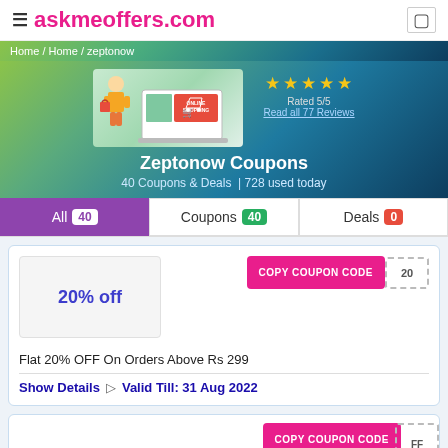≡ askmeoffers.com
Home / Home / zeptonow
[Figure (illustration): Online shopping illustration with laptop and shopping cart]
★ ★ ★ ★ ★
Rated 5/5
Read all 77 Reviews
Zeptonow Coupons
40 Coupons & Deals  | 728 used today
All 40 | Coupons 40 | Deals 0
COPY COUPON CODE  20
20% off
Flat 20% OFF On Orders Above Rs 299
Show Details  ▷  Valid Till: 31 Aug 2022
COPY COUPON CODE  FF